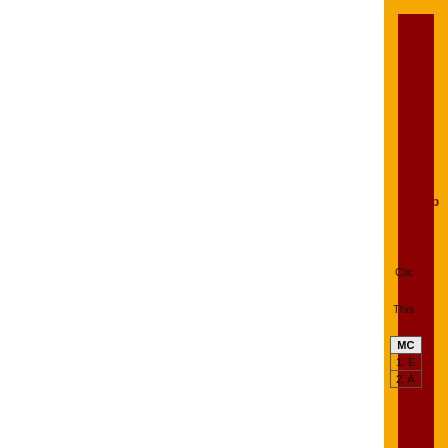[Figure (illustration): Decorative vertical bar element with gold/amber outer rectangle and dark red inner rectangle on right side of page]
Imp
Clic
This
| MC |
| --- |
| 1. E |
| 2. A |